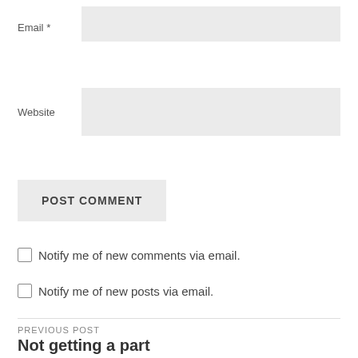Email *
Website
POST COMMENT
Notify me of new comments via email.
Notify me of new posts via email.
PREVIOUS POST
Not getting a part
NEXT POST
'Get Happy' R&D